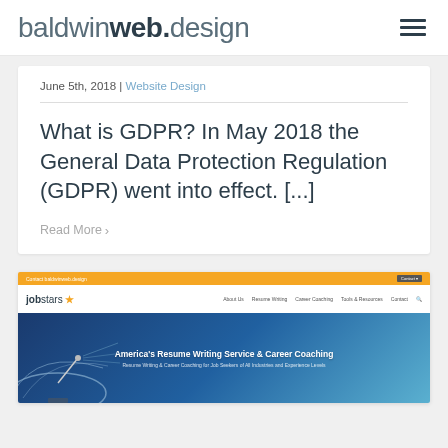baldwinweb.design
June 5th, 2018 | Website Design
What is GDPR? In May 2018 the General Data Protection Regulation (GDPR) went into effect. [...]
Read More >
[Figure (screenshot): Screenshot of the Jobstars website showing orange top bar, navigation with logo and links, and a hero section with satellite dish imagery and text 'America's Resume Writing Service & Career Coaching']